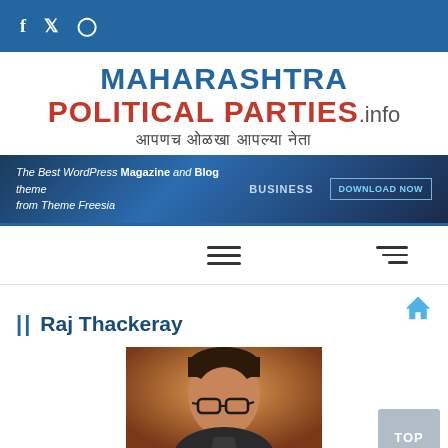f  𝕏  🎥
MAHARASHTRA POLITICAL PARTIES.info आपणच ओळखा आपल्या नेता
[Figure (screenshot): Banner ad: The Best WordPress Magazine and Blog theme from Theme Freesia - DOWNLOAD NOW]
[Figure (infographic): Navigation hamburger menu icons]
|| Raj Thackeray
[Figure (photo): Photo of Raj Thackeray wearing glasses]
TOP